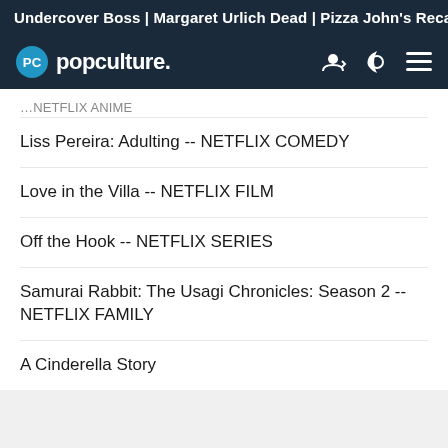Undercover Boss | Margaret Urlich Dead | Pizza John's Reca
popculture.
... NETFLIX ANIME
Liss Pereira: Adulting -- NETFLIX COMEDY
Love in the Villa -- NETFLIX FILM
Off the Hook -- NETFLIX SERIES
Samurai Rabbit: The Usagi Chronicles: Season 2 -- NETFLIX FAMILY
A Cinderella Story